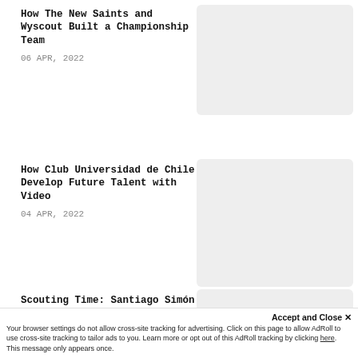How The New Saints and Wyscout Built a Championship Team
06 APR, 2022
[Figure (photo): Grey placeholder image for article 1]
How Club Universidad de Chile Develop Future Talent with Video
04 APR, 2022
[Figure (photo): Grey placeholder image for article 2]
Scouting Time: Santiago Simón
28 MAR, 2022
[Figure (photo): Grey placeholder image for article 3]
Accept and Close ✕
Your browser settings do not allow cross-site tracking for advertising. Click on this page to allow AdRoll to use cross-site tracking to tailor ads to you. Learn more or opt out of this AdRoll tracking by clicking here. This message only appears once.